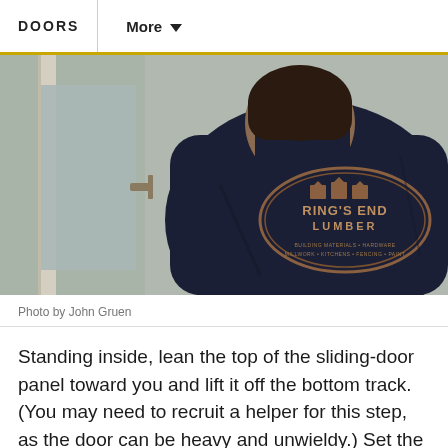DOORS   More
[Figure (photo): Person wearing a dark navy Ring's End Lumber sweatshirt/jacket, standing inside near a sliding glass door, viewed from behind. The back of the jacket shows the Ring's End Lumber logo with text 'BUILDING MATERIALS · HARDWARE · MILLWORK · KITCHENS · FENCING · PAINT'.]
Photo by John Gruen
Standing inside, lean the top of the sliding-door panel toward you and lift it off the bottom track. (You may need to recruit a helper for this step, as the door can be heavy and unwieldy.) Set the panel on